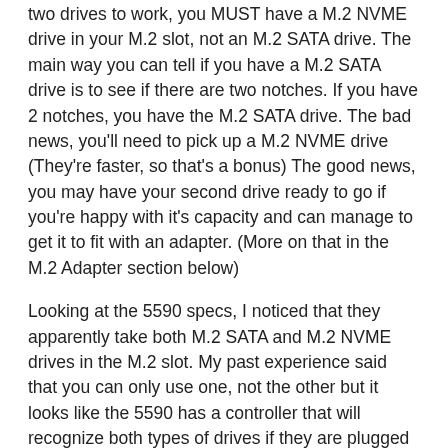two drives to work, you MUST have a M.2 NVME drive in your M.2 slot, not an M.2 SATA drive. The main way you can tell if you have a M.2 SATA drive is to see if there are two notches. If you have 2 notches, you have the M.2 SATA drive. The bad news, you'll need to pick up a M.2 NVME drive (They're faster, so that's a bonus) The good news, you may have your second drive ready to go if you're happy with it's capacity and can manage to get it to fit with an adapter. (More on that in the M.2 Adapter section below)
Looking at the 5590 specs, I noticed that they apparently take both M.2 SATA and M.2 NVME drives in the M.2 slot. My past experience said that you can only use one, not the other but it looks like the 5590 has a controller that will recognize both types of drives if they are plugged into the M.2 slot. That said, if you have a M.2 SATA in the M.2 and use the adapter method described below, the M.2 slot drive will disappear because you're now sharing the same SATA slot with two SATA drives. The M.2 MUST be an M.2 NVME (pcie) drive.